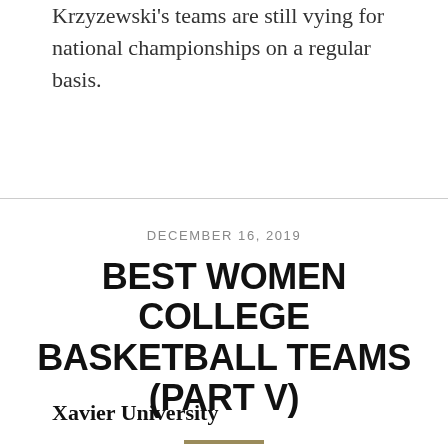Krzyzewski's teams are still vying for national championships on a regular basis.
DECEMBER 16, 2019
BEST WOMEN COLLEGE BASKETBALL TEAMS (PART V)
Xavier University